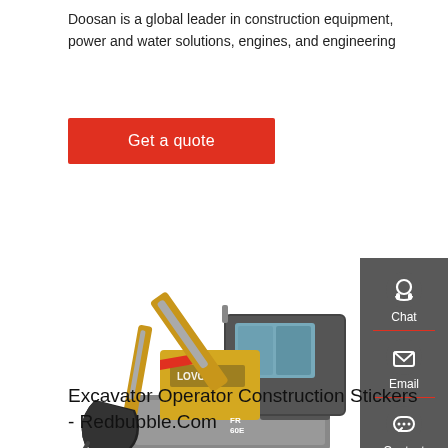Doosan is a global leader in construction equipment, power and water solutions, engines, and engineering
Get a quote
[Figure (photo): A yellow LOVOL mini excavator with a black cab, shown in a side-angled view with its arm extended downward and a chat/email/contact sidebar panel overlapping the right side.]
Excavator Operator Construction Stickers - Redbubble.Com